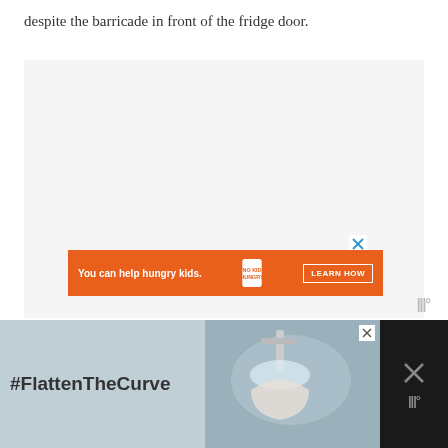despite the barricade in front of the fridge door.
[Figure (other): Light grey advertisement placeholder area]
[Figure (other): Orange banner advertisement: 'You can help hungry kids.' with No Kid Hungry logo and LEARN HOW button]
[Figure (other): Watermark logo 'W°' in grey]
[Figure (other): Bottom banner advertisement with dark background showing '#FlattenTheCurve' text on light blue background with image of hands washing at a faucet, with X close button and W° logo on right panel]